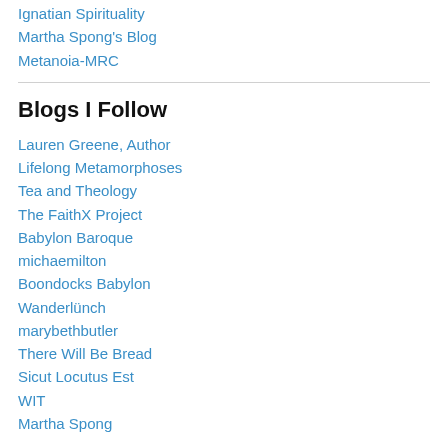Ignatian Spirituality
Martha Spong's Blog
Metanoia-MRC
Blogs I Follow
Lauren Greene, Author
Lifelong Metamorphoses
Tea and Theology
The FaithX Project
Babylon Baroque
michaemilton
Boondocks Babylon
Wanderlünch
marybethbutler
There Will Be Bread
Sicut Locutus Est
WIT
Martha Spong